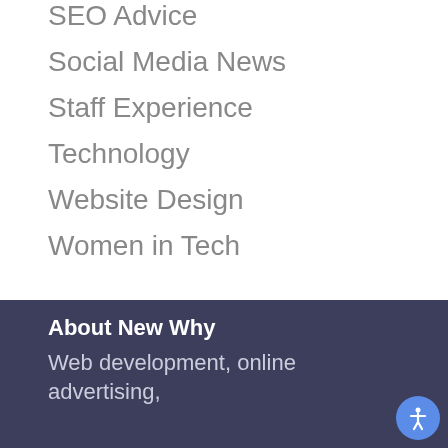SEO Advice
Social Media News
Staff Experience
Technology
Website Design
Women in Tech
About New Why
Web development, online advertising,